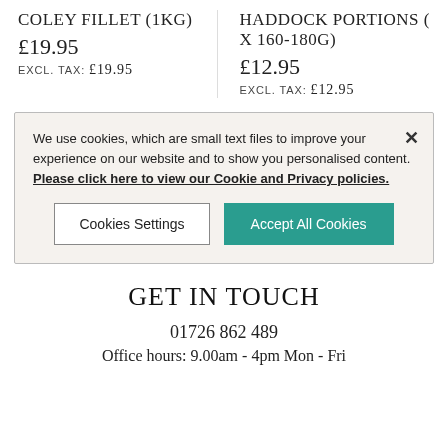COLEY FILLET (1KG)
£19.95
EXCL. TAX: £19.95
HADDOCK PORTIONS (X 160-180G)
£12.95
EXCL. TAX: £12.95
We use cookies, which are small text files to improve your experience on our website and to show you personalised content. Please click here to view our Cookie and Privacy policies.
Cookies Settings
Accept All Cookies
GET IN TOUCH
01726 862 489
Office hours: 9.00am - 4pm Mon - Fri